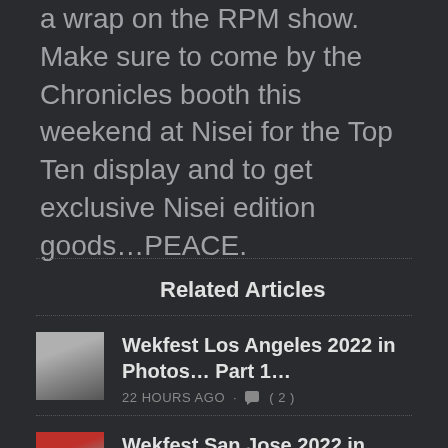a wrap on the RPM show. Make sure to come by the Chronicles booth this weekend at Nisei for the Top Ten display and to get exclusive Nisei edition goods…PEACE.
Related Articles
Wekfest Los Angeles 2022 in Photos… Part 1… 22 HOURS AGO · (2)
Wekfest San Jose 2022 in